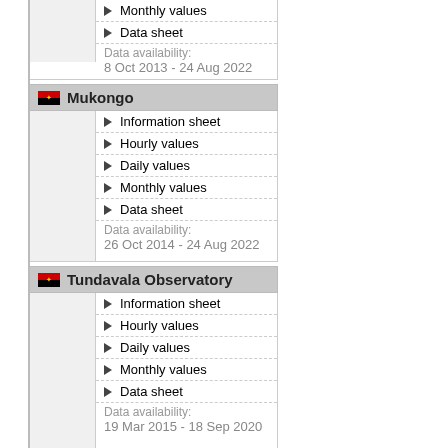Monthly values
Data sheet
Data availability:
8 Oct 2013 - 24 Aug 2022
Mukongo
Information sheet
Hourly values
Daily values
Monthly values
Data sheet
Data availability:
26 Oct 2014 - 24 Aug 2022
Tundavala Observatory
Information sheet
Hourly values
Daily values
Monthly values
Data sheet
Data availability:
19 Mar 2015 - 18 Sep 2020
Bibala
Information sheet
Hourly values
Daily values